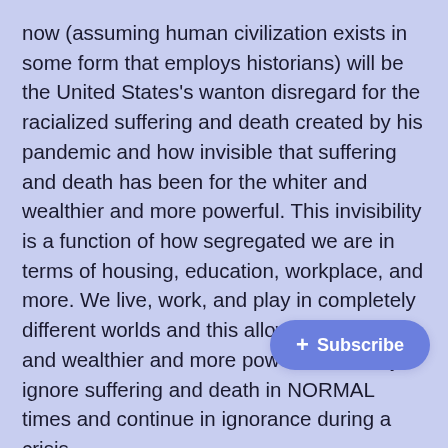now (assuming human civilization exists in some form that employs historians) will be the United States's wanton disregard for the racialized suffering and death created by his pandemic and how invisible that suffering and death has been for the whiter and wealthier and more powerful. This invisibility is a function of how segregated we are in terms of housing, education, workplace, and more. We live, work, and play in completely different worlds and this allows the whiter and wealthier and more powerful to easily ignore suffering and death in NORMAL times and continue in ignorance during a crisis.
I invite you to imagine what our social and governmental response would be if COVID was causing suffering and death at proportionate or higher rates in our whiter, wealthier, and more powerful